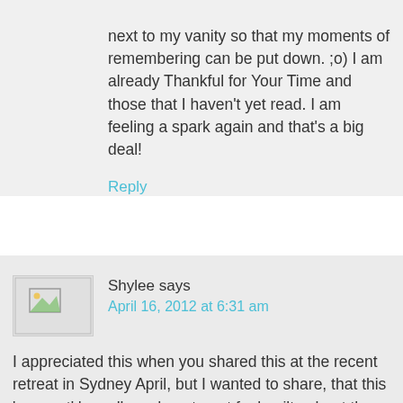next to my vanity so that my moments of remembering can be put down. ;o) I am already Thankful for Your Time and those that I haven't yet read. I am feeling a spark again and that's a big deal!
Reply
Shylee says
April 16, 2012 at 6:31 am
I appreciated this when you shared this at the recent retreat in Sydney April, but I wanted to share, that this 'concept' has allowed me to not feel guilty about the fact that there was just a few things I wanted to do for myself (bookclub, play the piano, sing), I thought I was being selfish, but now I realised, I was just trying to